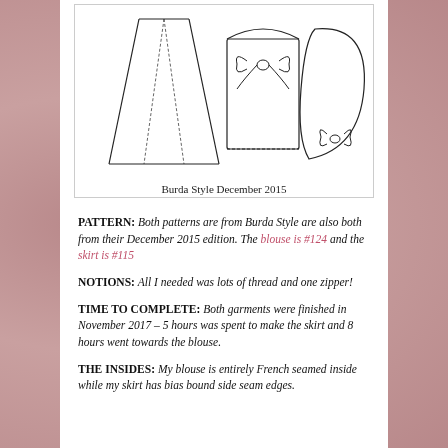[Figure (illustration): Line drawing of sewing pattern pieces: a flared skirt on the left, a blouse with bow detail in the center, and a rolled sleeve or bolster shape with bow on the right. Burda Style December 2015 pattern illustration.]
Burda Style December 2015
PATTERN:  Both patterns are from Burda Style are also both from their December 2015 edition.  The blouse is #124 and the skirt is #115
NOTIONS:  All I needed was lots of thread and one zipper!
TIME TO COMPLETE:  Both garments were finished in November 2017 – 5 hours was spent to make the skirt and 8 hours went towards the blouse.
THE INSIDES:  My blouse is entirely French seamed inside while my skirt has bias bound side seam edges.